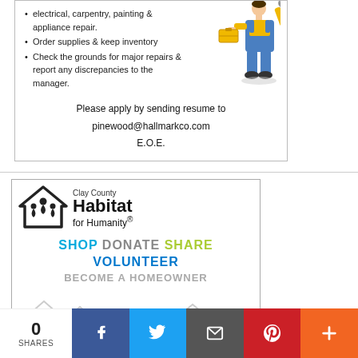electrical, carpentry, painting & appliance repair.
Order supplies & keep inventory
Check the grounds for major repairs & report any discrepancies to the manager.
Please apply by sending resume to pinewood@hallmarkco.com E.O.E.
[Figure (illustration): Cartoon worker in blue overalls carrying a toolbox, with a wrench in hand]
[Figure (logo): Clay County Habitat for Humanity logo with house/people icon]
SHOP DONATE SHARE VOLUNTEER
BECOME A HOMEOWNER
[Figure (illustration): ReStore neighborhood scene with houses, people, and a truck]
0 SHARES
[Figure (other): Social sharing bar with Facebook, Twitter, Email, Pinterest, and More buttons]